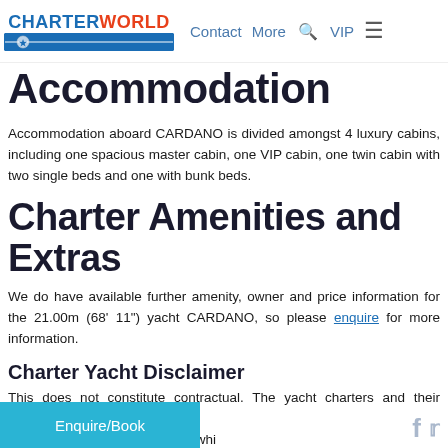CharterWorld — Contact | More | VIP
Accommodation
Accommodation aboard CARDANO is divided amongst 4 luxury cabins, including one spacious master cabin, one VIP cabin, one twin cabin with two single beds and one with bunk beds.
Charter Amenities and Extras
We do have available further amenity, owner and price information for the 21.00m (68' 11") yacht CARDANO, so please enquire for more information.
Charter Yacht Disclaimer
This does not constitute contractual. The yacht charters and their details are displayed in good faith and whi